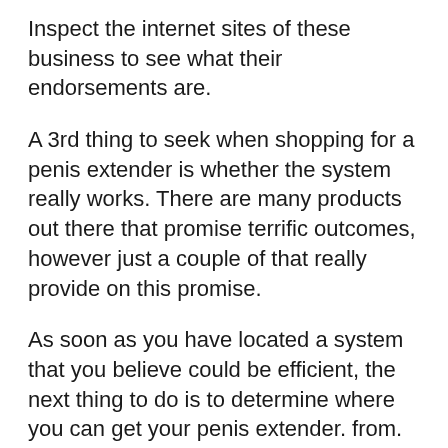Inspect the internet sites of these business to see what their endorsements are.
A 3rd thing to seek when shopping for a penis extender is whether the system really works. There are many products out there that promise terrific outcomes, however just a couple of that really provide on this promise.
As soon as you have located a system that you believe could be efficient, the next thing to do is to determine where you can get your penis extender. from.
The best area to purchase a penis extender is from the manufacturer. Because much of these are constructed from clinical grade